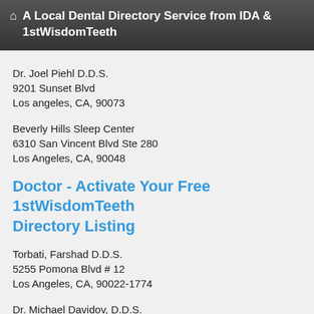A Local Dental Directory Service from IDA & 1stWisdomTeeth
Dr. Joel Piehl D.D.S.
9201 Sunset Blvd
Los angeles, CA, 90073
Beverly Hills Sleep Center
6310 San Vincent Blvd Ste 280
Los Angeles, CA, 90048
Doctor - Activate Your Free 1stWisdomTeeth Directory Listing
Torbati, Farshad D.D.S.
5255 Pomona Blvd # 12
Los Angeles, CA, 90022-1774
Dr. Michael Davidov, D.D.S.
8250 W. 3rd St. Suite 201
Los Angeles , CA, 90048
Corrective Oral Surgery